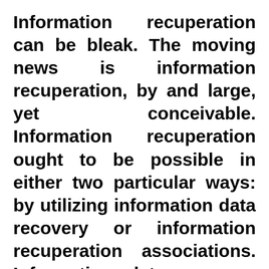Information recuperation can be bleak. The moving news is information recuperation, by and large, yet conceivable. Information recuperation ought to be possible in either two particular ways: by utilizing information data recovery or information recuperation associations. Information data recovery can assist you with resuscitating the information which you believed was lost. By and by, information recuperation associations can accomplish more than that